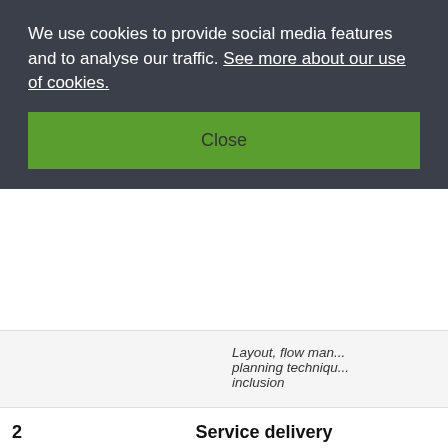We use cookies to provide social media features and to analyse our traffic. See more about our use of cookies.
Close
Layout, flow management, planning techniques, inclusion
2    Service delivery
Ensure the delivery of FM service provision to required standards and identify opportunities for improvement (identify requirements; identify opportunities for improvements; identify and rectify FM service delivery problems)
Principles of contr... Problem solving te... measures, correct... Management of su... (management syst... specialists, e.g. se... access, performan...